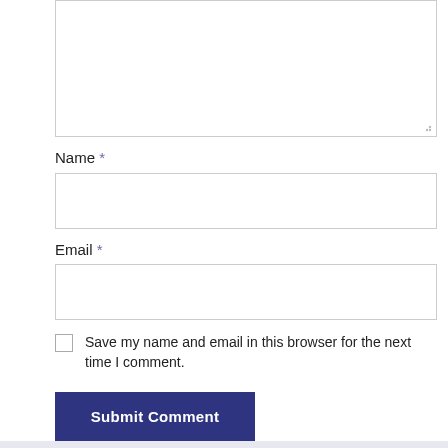[Figure (screenshot): A web comment form showing a large textarea at top (partially cut off), followed by Name and Email labeled input fields, a checkbox for saving browser info, and a dark blue Submit Comment button.]
Name *
Email *
Save my name and email in this browser for the next time I comment.
Submit Comment